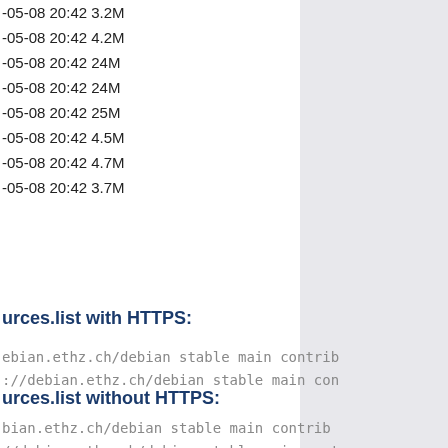-05-08 20:42 3.2M
-05-08 20:42 4.2M
-05-08 20:42 24M
-05-08 20:42 24M
-05-08 20:42 25M
-05-08 20:42 4.5M
-05-08 20:42 4.7M
-05-08 20:42 3.7M
urces.list with HTTPS:
ebian.ethz.ch/debian stable main contrib
://debian.ethz.ch/debian stable main con
urces.list without HTTPS:
bian.ethz.ch/debian stable main contrib
//debian.ethz.ch/debian stable main cont